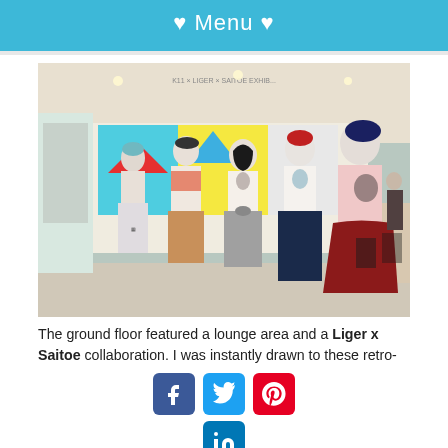♥ Menu ♥
[Figure (photo): Fashion exhibition display showing several mannequins dressed in retro-style clothing including berets, patterned skirts, and graphic tees, inside a K11 x Liger x Saitoe exhibit space]
The ground floor featured a lounge area and a Liger x Saitoe collaboration. I was instantly drawn to these retro-
[Figure (infographic): Social media share buttons: Facebook, Twitter, Pinterest (top row), LinkedIn (bottom row centered)]